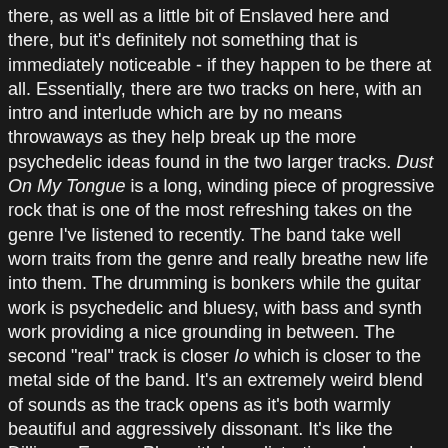there, as well as a little bit of Enslaved here and there, but it's definitely not something that is immediately noticeable - if they happen to be there at all. Essentially, there are two tracks on here, with an intro and interlude which are by no means throwaways as they help break up the more psychedelic ideas found in the two larger tracks. Dust On My Tongue is a long, winding piece of progressive rock that is one of the most refreshing takes on the genre I've listened to recently. The band take well worn traits from the genre and really breathe new life into them. The drumming is bonkers while the guitar work is psychedelic and bluesy, with bass and synth work providing a nice grounding in between. The second "real" track is closer Io which is closer to the metal side of the band. It's an extremely weird blend of sounds as the track opens as it's both warmly beautiful and aggressively dissonant. It's like the Dillinger Escape Plan with less distortion and vocals.
This is a great piece of work and should not be missed. I know plenty of people are doing their end of year lists, but don't miss out on this one just because it's late in the game. It's truly a stellar piece of modern progressive rock/metal. Highly recommended.